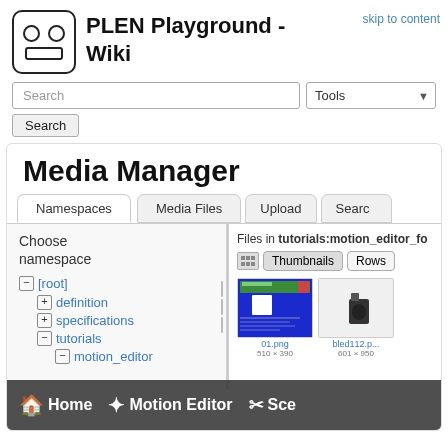[Figure (logo): PLEN robot face logo in a rounded square border]
PLEN Playground - Wiki
skip to content
Search
Tools
Media Manager
Namespaces
Media Files
Upload
Search
Choose namespace
Files in tutorials:motion_editor_fo
Thumbnails
Rows
[root]
definition
specifications
tutorials
motion_editor
[Figure (screenshot): Screenshot thumbnail showing a blue screen with Japanese text]
[Figure (photo): Photo thumbnail showing a USB dongle on white background]
01.png
bled112.p...
Home
Motion Editor
Sce